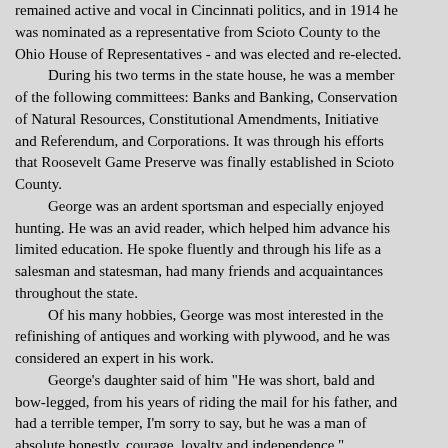remained active and vocal in Cincinnati politics, and in 1914 he was nominated as a representative from Scioto County to the Ohio House of Representatives - and was elected and re-elected.
During his two terms in the state house, he was a member of the following committees: Banks and Banking, Conservation of Natural Resources, Constitutional Amendments, Initiative and Referendum, and Corporations. It was through his efforts that Roosevelt Game Preserve was finally established in Scioto County.
George was an ardent sportsman and especially enjoyed hunting. He was an avid reader, which helped him advance his limited education. He spoke fluently and through his life as a salesman and statesman, had many friends and acquaintances throughout the state.
Of his many hobbies, George was most interested in the refinishing of antiques and working with plywood, and he was considered an expert in his work.
George's daughter said of him "He was short, bald and bow-legged, from his years of riding the mail for his father, and had a terrible temper, I'm sorry to say, but he was a man of absolute honestly, courage, loyalty and independence."
George and Adele had five children, one of whom died in infancy. Their eldest, Theron was only a "baby" - his sister's words, when he was put in military school so that Adele could pursue her career as a singer. Her sister Gertrude lived with them and helped look after the younger children.
In the 20s, George somehow got involved in a coal mine at Hazard, Kentucky. He bought an interest and became the company's general manager. He went down to Hazard to take care of the mine's interests and Theron went with him. One Edna WEAVER worked in the commissary and she and Theron fell in love and were married in Greenup, Kentucky on 14 August 1926.
The Depression had not yet come upon the country, but regardless, things